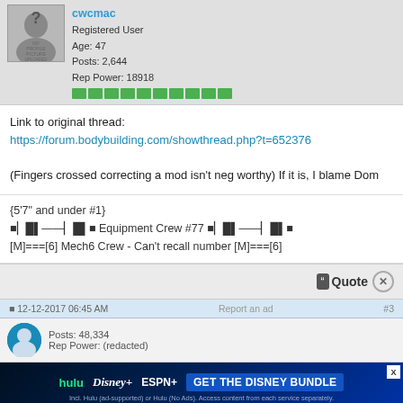[Figure (photo): User profile section with no-profile-picture placeholder image (silhouette with question mark), username cwcmac with green reputation bars, Registered User, Age: 47, Posts: 2,644, Rep Power: 18918]
Link to original thread:
https://forum.bodybuilding.com/showthread.php?t=652376

(Fingers crossed correcting a mod isn't neg worthy) If it is, I blame Dom
{5'7" and under #1}
■▐█▌——▐█▌■ Equipment Crew #77 ■▐█▌——▐█▌■
[M]===[6] Mech6 Crew - Can't recall number [M]===[6]
[Figure (screenshot): Quote button with close X button on gray bar]
12-12-2017 06:45 AM    Report an ad
[Figure (screenshot): Disney Bundle advertisement banner showing Hulu, Disney+, ESPN+ logos with GET THE DISNEY BUNDLE call to action and fine print]